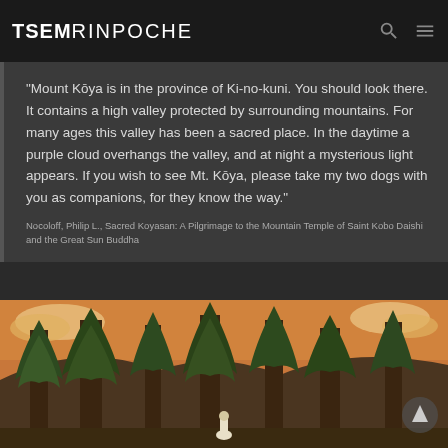TSEM RINPOCHE
“Mount Kōya is in the province of Ki-no-kuni. You should look there. It contains a high valley protected by surrounding mountains. For many ages this valley has been a sacred place. In the daytime a purple cloud overhangs the valley, and at night a mysterious light appears. If you wish to see Mt. Kōya, please take my two dogs with you as companions, for they know the way.”
Nocoloff, Philip L., Sacred Koyasan: A Pilgrimage to the Mountain Temple of Saint Kobo Daishi and the Great Sun Buddha
[Figure (illustration): Japanese-style illustration of tall dark cedar/pine trees in a forest with orange/golden sky and clouds, and a small figure in white robes at the bottom center]